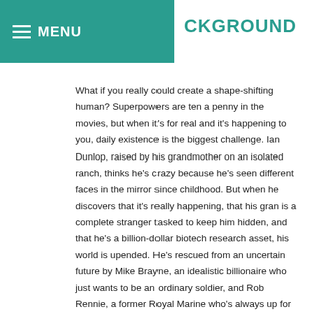MENU  CKGROUND
What if you really could create a shape-shifting human? Superpowers are ten a penny in the movies, but when it's for real and it's happening to you, daily existence is the biggest challenge. Ian Dunlop, raised by his grandmother on an isolated ranch, thinks he's crazy because he's seen different faces in the mirror since childhood. But when he discovers that it's really happening, that his gran is a complete stranger tasked to keep him hidden, and that he's a billion-dollar biotech research asset, his world is upended. He's rescued from an uncertain future by Mike Brayne, an idealistic billionaire who just wants to be an ordinary soldier, and Rob Rennie, a former Royal Marine who's always up for the right fight. The two combat vets draw Ian into a world of serious money, high stakes, and the kind of military work he was born for – designed for. He's got the perfect skill set for covert ops and now he wants to put it to good use.